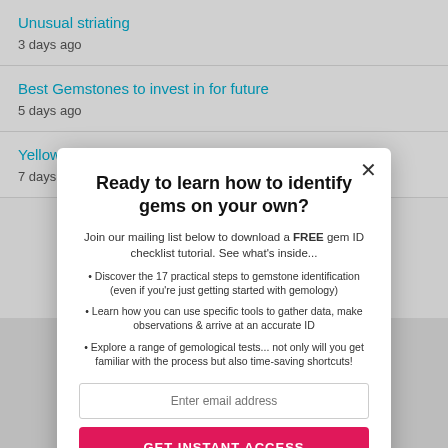Unusual striating
3 days ago
Best Gemstones to invest in for future
5 days ago
Yellow di
7 days a
Ready to learn how to identify gems on your own?
Join our mailing list below to download a FREE gem ID checklist tutorial. See what's inside...
Discover the 17 practical steps to gemstone identification (even if you're just getting started with gemology)
Learn how you can use specific tools to gather data, make observations & arrive at an accurate ID
Explore a range of gemological tests... not only will you get familiar with the process but also time-saving shortcuts!
Enter email address
GET INSTANT ACCESS